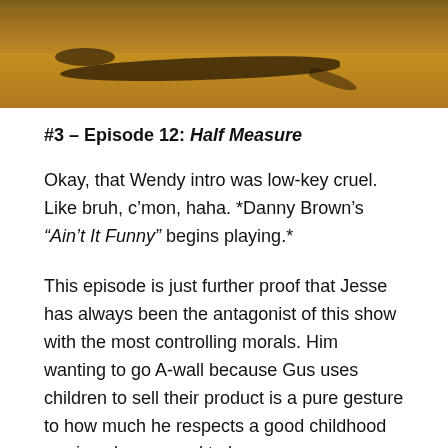[Figure (photo): A person lying face-down on sandy ground, shot from above with warm orange/sepia tones]
#3 – Episode 12: Half Measure
Okay, that Wendy intro was low-key cruel. Like bruh, c’mon, haha. *Danny Brown’s “Ain’t It Funny” begins playing.*
This episode is just further proof that Jesse has always been the antagonist of this show with the most controlling morals. Him wanting to go A-wall because Gus uses children to sell their product is a pure gesture to how much he respects a good childhood – since he seemed to have a